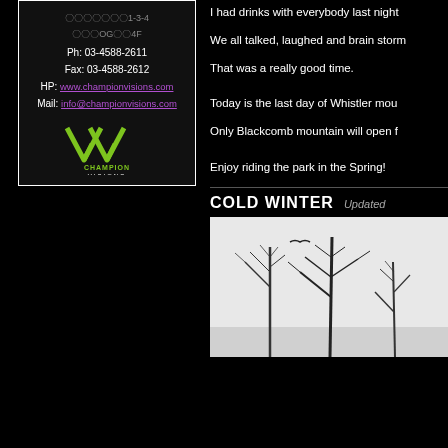〒XXX-XXXX 1-3-4
〇〇〇OG〇〇4F
Ph: 03-4588-2611
Fax: 03-4588-2612
HP: www.championvisions.com
Mail: info@championvisions.com
[Figure (logo): Champion Visions logo with CV icon and text]
I had drinks with everybody last night
We all talked, laughed and brain storm
That was a really good time.
Today is the last day of Whistler mou
Only Blackcomb mountain will open f
Enjoy riding the park in the Spring!
COLD WINTER Updated
[Figure (photo): Black and white winter photo showing bare trees against a light sky]